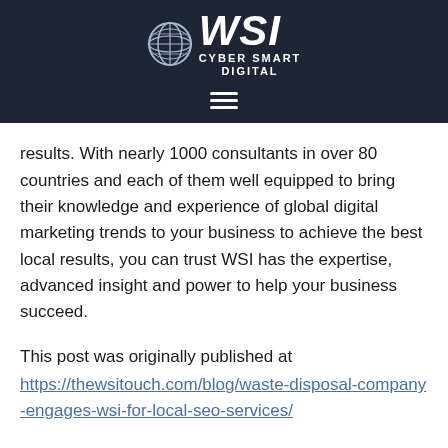[Figure (logo): WSI Cyber Smart Digital logo with globe icon on dark navy background, with hamburger menu icon below]
results. With nearly 1000 consultants in over 80 countries and each of them well equipped to bring their knowledge and experience of global digital marketing trends to your business to achieve the best local results, you can trust WSI has the expertise, advanced insight and power to help your business succeed.
This post was originally published at https://thewsitouch.com/blog/waste-disposal-company-engages-wsi-for-local-seo-services/